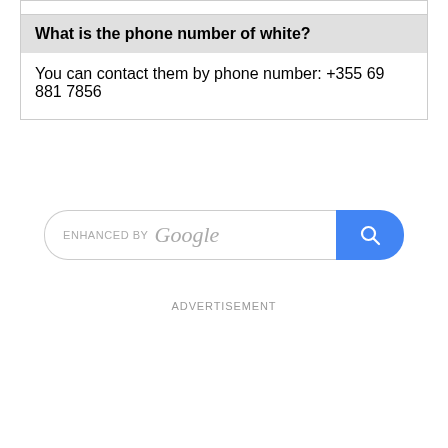What is the phone number of white?
You can contact them by phone number: +355 69 881 7856
[Figure (screenshot): Google search bar with 'ENHANCED BY Google' text and a blue search button with magnifying glass icon]
ADVERTISEMENT